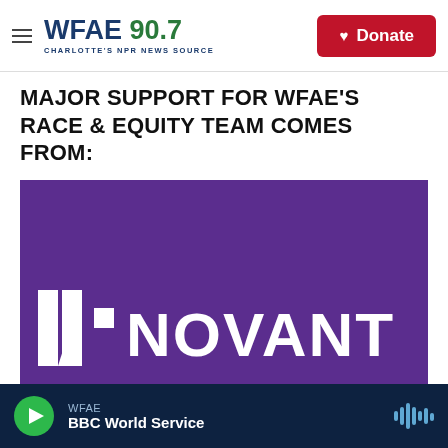WFAE 90.7 — Charlotte's NPR News Source | Donate
MAJOR SUPPORT FOR WFAE'S RACE & EQUITY TEAM COMES FROM:
[Figure (logo): Novant Health logo — white N mark and 'NOVANT' wordmark on a purple background]
WFAE — BBC World Service (audio player bar)